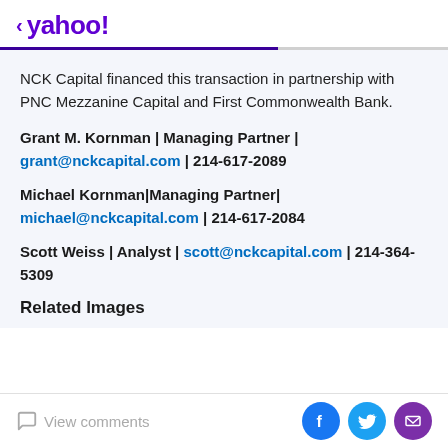< yahoo!
NCK Capital financed this transaction in partnership with PNC Mezzanine Capital and First Commonwealth Bank.
Grant M. Kornman | Managing Partner | grant@nckcapital.com | 214-617-2089
Michael Kornman|Managing Partner| michael@nckcapital.com | 214-617-2084
Scott Weiss | Analyst | scott@nckcapital.com | 214-364-5309
Related Images
View comments